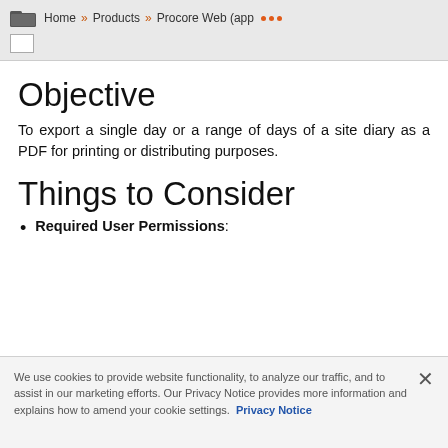Home » Products » Procore Web (app ...
Objective
To export a single day or a range of days of a site diary as a PDF for printing or distributing purposes.
Things to Consider
Required User Permissions:
We use cookies to provide website functionality, to analyze our traffic, and to assist in our marketing efforts. Our Privacy Notice provides more information and explains how to amend your cookie settings. Privacy Notice